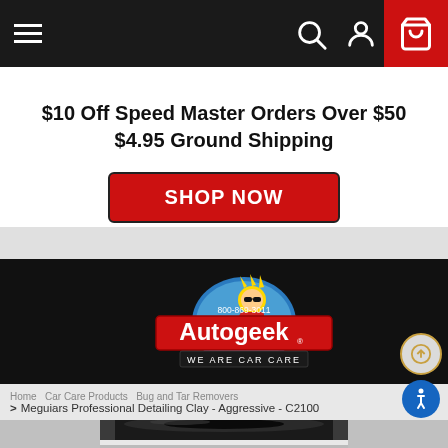[Figure (screenshot): Website navigation bar with hamburger menu, search icon, user icon, and red shopping cart icon on black background]
$10 Off Speed Master Orders Over $50
$4.95 Ground Shipping
[Figure (other): Red SHOP NOW button]
[Figure (logo): Autogeek logo — 'We Are Car Care' with cartoon mascot, phone number 800-869-3011]
> Meguiars Professional Detailing Clay - Aggressive - C2100
[Figure (photo): Close-up product photo of Meguiars Professional Detailing Clay container, black cylindrical container top view]